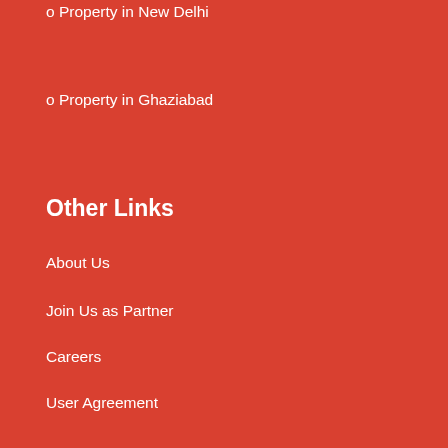o Property in New Delhi
o Property in Ghaziabad
Other Links
About Us
Join Us as Partner
Careers
User Agreement
Disclaimer
Myrealestate.in shall neither be responsible nor liable for any inaccuracy in the information provided here and therefore the customers are requested to independently